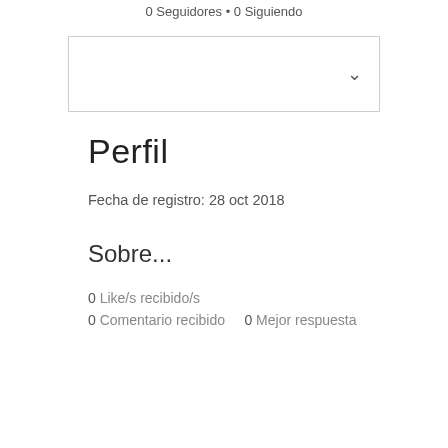0 Seguidores • 0 Siguiendo
[Figure (screenshot): Dropdown/select box with a chevron (down arrow) on the right side, empty content area.]
Perfil
Fecha de registro: 28 oct 2018
Sobre...
0 Like/s recibido/s
0 Comentario recibido    0 Mejor respuesta